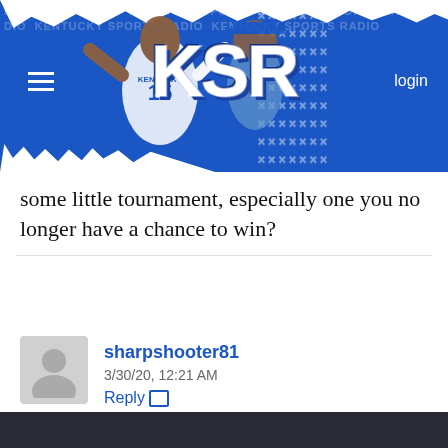KSR - Kentucky Sports Radio
some little tournament, especially one you no longer have a chance to win?
sharpshooter81
3/30/20, 12:21 AM
Reply
I figured Maxey and Richards were a for sure going into the draft with Hagans a strong possibility, but EJ and IQ are making huge huge mistakes. EJ will not get drafted and will not even sniff a chance for